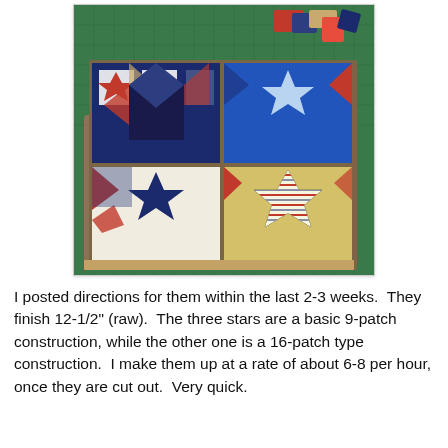[Figure (photo): A photograph of quilt blocks on a cutting mat. The blocks feature star patterns in red, white, blue, navy, and yellow/gold fabrics. Some blocks have 9-patch star construction, others have 16-patch star construction. Fabric scraps are visible in the background on a green cutting mat.]
I posted directions for them within the last 2-3 weeks.  They finish 12-1/2" (raw).  The three stars are a basic 9-patch construction, while the other one is a 16-patch type construction.  I make them up at a rate of about 6-8 per hour, once they are cut out.  Very quick.